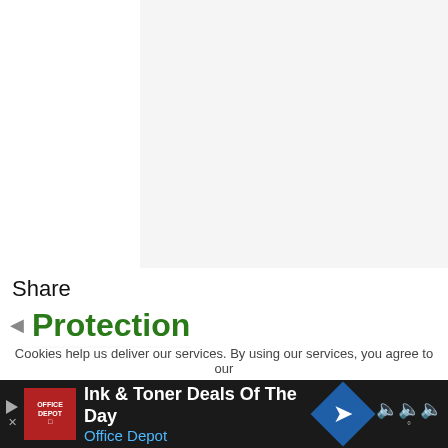[Figure (other): Blank/white area at top of page, possibly an image placeholder]
Share
Protection
The Lurcher dog breed does not make for a good watch dog nor a guard dog. They were not bred to guard, unlike
Cookies help us deliver our services. By using our services, you agree to our
[Figure (screenshot): Advertisement bar: Ink & Toner Deals Of The Day — Office Depot]